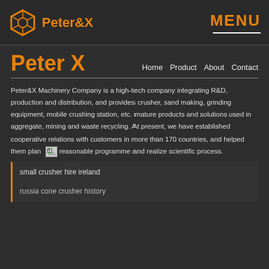Peter&X  MENU
Peter X
Home  Product  About  Contact
Peter&X Machinery Company is a high-tech company integrating R&D, production and distribution, and provides crusher, sand making, grinding equipment, mobile crushing station, etc. mature products and solutions used in aggregate, mining and waste recycling. At present, we have established cooperative relations with customers in more than 170 countries, and helped them plan reasonable programme and realize scientific process.
small crusher hire ireland
russia cone crusher history